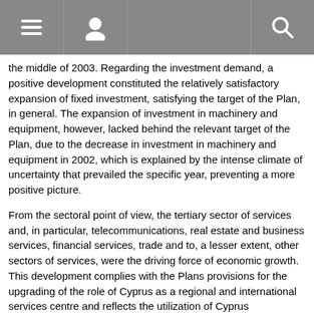Navigation header with menu, profile, and search icons
the middle of 2003. Regarding the investment demand, a positive development constituted the relatively satisfactory expansion of fixed investment, satisfying the target of the Plan, in general. The expansion of investment in machinery and equipment, however, lacked behind the relevant target of the Plan, due to the decrease in investment in machinery and equipment in 2002, which is explained by the intense climate of uncertainty that prevailed the specific year, preventing a more positive picture.
From the sectoral point of view, the tertiary sector of services and, in particular, telecommunications, real estate and business services, financial services, trade and to, a lesser extent, other sectors of services, were the driving force of economic growth. This development complies with the Plans provisions for the upgrading of the role of Cyprus as a regional and international services centre and reflects the utilization of Cyprus comparative advantages in these sectors. Despite this, the continued partial dependence on tourism, a sector, which confirmed its vulnerable character to external and unanticipated factors during the period covered by the Plan, particularly in 2002 and 2003, implies the imperative need for a further diversification of the structure of the economy in favor of other services, beyond tourism. The manufacturing sector exhibited a small decrease during the period of the Plan, with a recovery during the period 1999-2000, which was, however, reversed in the subsequent years, a development which indicates that the Plans objectives for restructuring and modernizing the sector need more time to be achieved. The agricultural sector exhibited